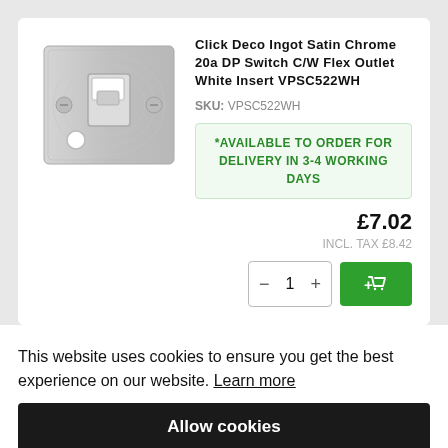[Figure (photo): Satin chrome 20a DP switch with flex outlet and white insert, showing two screws and a cable entry hole at bottom left]
Click Deco Ingot Satin Chrome 20a DP Switch C/W Flex Outlet White Insert VPSC522WH
SKU: VPSC522WH
*AVAILABLE TO ORDER FOR DELIVERY IN 3-4 WORKING DAYS
£7.02
INCL. TAX £8.42
This website uses cookies to ensure you get the best experience on our website. Learn more
Allow cookies
feefo Reviews DER FOR KING DAYS